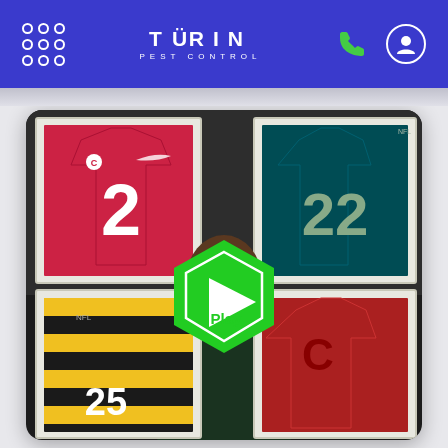Turin Pest Control
[Figure (screenshot): Video thumbnail showing a person (athlete/spokesperson) standing in front of framed NFL/college football jerseys on a wall. A large green hexagonal play button with 'Play' text is centered over the image. Top-left jersey is red #2, top-right is teal, bottom-left is yellow/black striped, bottom-right is red. The man wears a dark green shirt.]